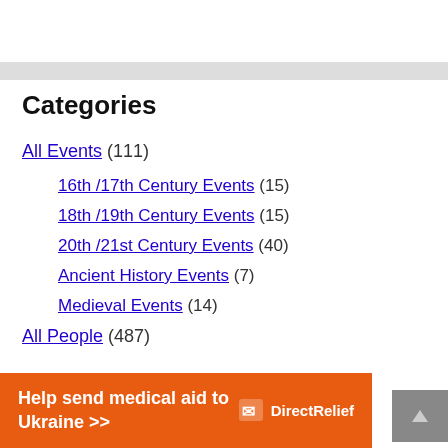Categories
All Events (111)
16th /17th Century Events (15)
18th /19th Century Events (15)
20th /21st Century Events (40)
Ancient History Events (7)
Medieval Events (14)
All People (487)
[Figure (infographic): Orange advertisement banner: Help send medical aid to Ukraine >> with DirectRelief logo]